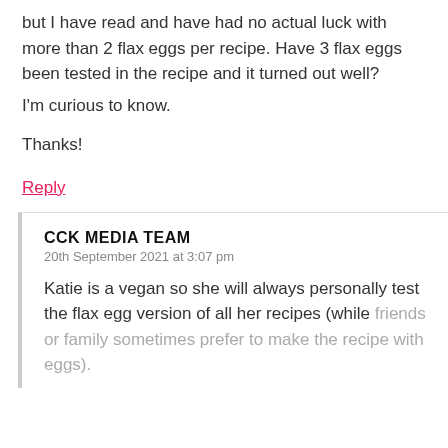but I have read and have had no actual luck with more than 2 flax eggs per recipe. Have 3 flax eggs been tested in the recipe and it turned out well?
I'm curious to know.

Thanks!
Reply
CCK MEDIA TEAM
20th September 2021 at 3:07 pm
Katie is a vegan so she will always personally test the flax egg version of all her recipes (while friends or family sometimes prefer to make the recipe with eggs).